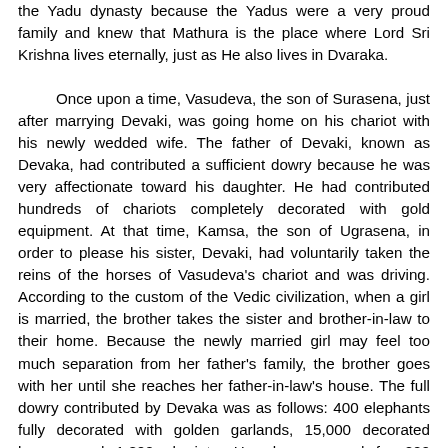the Yadu dynasty because the Yadus were a very proud family and knew that Mathura is the place where Lord Sri Krishna lives eternally, just as He also lives in Dvaraka.

Once upon a time, Vasudeva, the son of Surasena, just after marrying Devaki, was going home on his chariot with his newly wedded wife. The father of Devaki, known as Devaka, had contributed a sufficient dowry because he was very affectionate toward his daughter. He had contributed hundreds of chariots completely decorated with gold equipment. At that time, Kamsa, the son of Ugrasena, in order to please his sister, Devaki, had voluntarily taken the reins of the horses of Vasudeva's chariot and was driving. According to the custom of the Vedic civilization, when a girl is married, the brother takes the sister and brother-in-law to their home. Because the newly married girl may feel too much separation from her father's family, the brother goes with her until she reaches her father-in-law's house. The full dowry contributed by Devaka was as follows: 400 elephants fully decorated with golden garlands, 15,000 decorated horses, and 1,800 chariots. He also arranged for 200 beautiful girls to follow his daughter. The kshatriya system of marriage, still current in India, dictates that when a kshatriya is married, a few dozen of the bride's young girlfriends (in addition to the bride) go to the house of the king. The followers of the queen are called maidservants, but actually